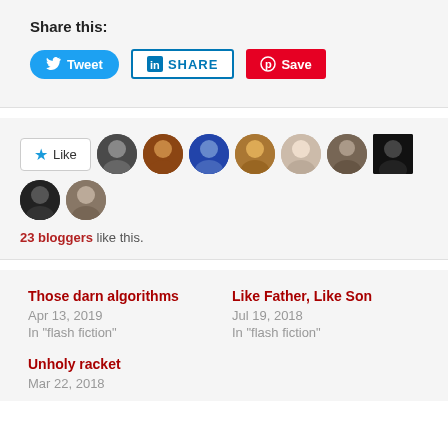Share this:
[Figure (infographic): Social sharing buttons: Tweet (Twitter, blue rounded), SHARE (LinkedIn, blue bordered), Save (Pinterest, red)]
[Figure (infographic): Like button with star icon and 9 blogger avatar thumbnails]
23 bloggers like this.
Those darn algorithms
Apr 13, 2019
In "flash fiction"
Like Father, Like Son
Jul 19, 2018
In "flash fiction"
Unholy racket
Mar 22, 2018